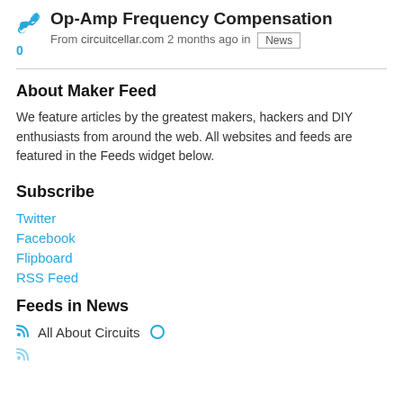Op-Amp Frequency Compensation
From circuitcellar.com 2 months ago in News
About Maker Feed
We feature articles by the greatest makers, hackers and DIY enthusiasts from around the web. All websites and feeds are featured in the Feeds widget below.
Subscribe
Twitter
Facebook
Flipboard
RSS Feed
Feeds in News
All About Circuits